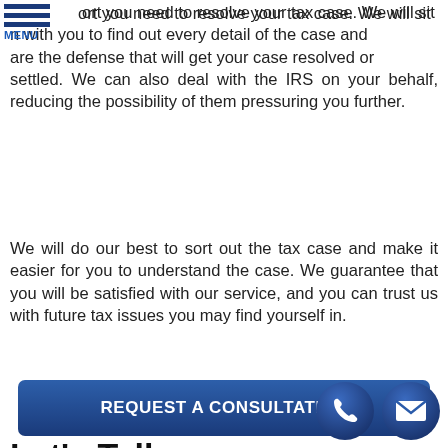MENU
ort you need to resolve your tax case. We will sit with you to find out every detail of the case and are the defense that will get your case resolved or settled. We can also deal with the IRS on your behalf, reducing the possibility of them pressuring you further.
We will do our best to sort out the tax case and make it easier for you to understand the case. We guarantee that you will be satisfied with our service, and you can trust us with future tax issues you may find yourself in.
REQUEST A CONSULTATION
Let's Talk – Compassionate Legal Advice
[Figure (illustration): Two circular icon buttons at bottom right: a phone icon and an envelope/email icon, both in dark navy blue.]